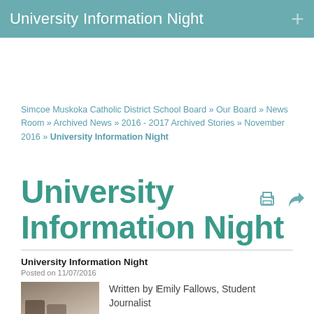University Information Night
Simcoe Muskoka Catholic District School Board » Our Board » News Room » Archived News » 2016 - 2017 Archived Stories » November 2016 » University Information Night
University Information Night
University Information Night
Posted on 11/07/2016
Written by Emily Fallows, Student Journalist
[Figure (photo): Photo of students at University Information Night event]